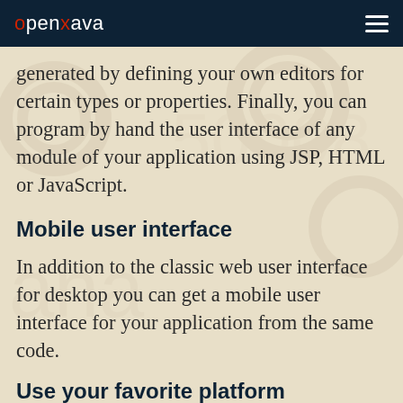openxava
generated by defining your own editors for certain types or properties. Finally, you can program by hand the user interface of any module of your application using JSP, HTML or JavaScript.
Mobile user interface
In addition to the classic web user interface for desktop you can get a mobile user interface for your application from the same code.
Use your favorite platform